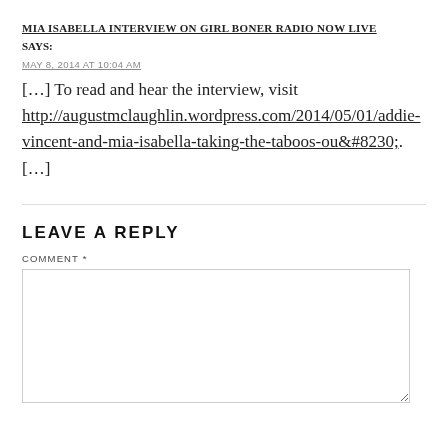MIA ISABELLA INTERVIEW ON GIRL BONER RADIO NOW LIVE
SAYS:
MAY 8, 2014 AT 10:04 AM
[…] To read and hear the interview, visit http://augustmclaughlin.wordpress.com/2014/05/01/addie-vincent-and-mia-isabella-taking-the-taboos-ou&#8230;. […]
LEAVE A REPLY
COMMENT *